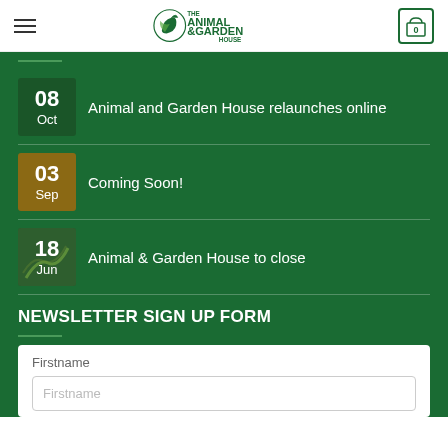[Figure (logo): The Animal & Garden House logo with animal and leaf icon]
08 Oct – Animal and Garden House relaunches online
03 Sep – Coming Soon!
18 Jun – Animal & Garden House to close
NEWSLETTER SIGN UP FORM
Firstname